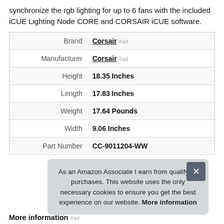synchronize the rgb lighting for up to 6 fans with the included iCUE Lighting Node CORE and CORSAIR iCUE software.
|  |  |
| --- | --- |
| Brand | Corsair #ad |
| Manufacturer | Corsair #ad |
| Height | 18.35 Inches |
| Length | 17.83 Inches |
| Weight | 17.64 Pounds |
| Width | 9.06 Inches |
| Part Number | CC-9011204-WW |
As an Amazon Associate I earn from qualifying purchases. This website uses the only necessary cookies to ensure you get the best experience on our website. More information
More information #ad